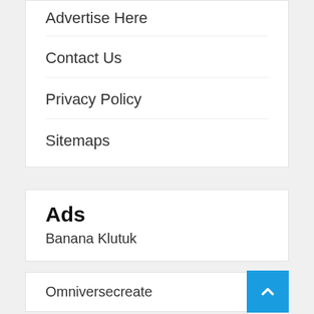Advertise Here
Contact Us
Privacy Policy
Sitemaps
Ads
Banana Klutuk
Omniversecreate
Asmaul Husna